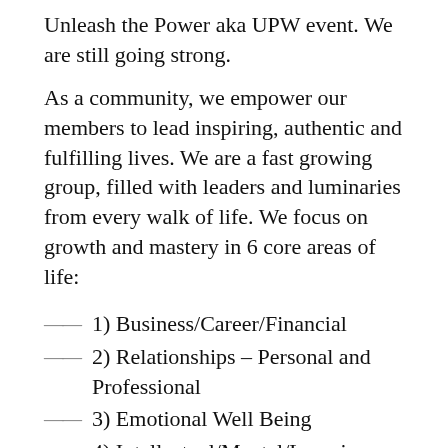Unleash the Power aka UPW event. We are still going strong.
As a community, we empower our members to lead inspiring, authentic and fulfilling lives. We are a fast growing group, filled with leaders and luminaries from every walk of life. We focus on growth and mastery in 6 core areas of life:
1) Business/Career/Financial
2) Relationships – Personal and Professional
3) Emotional Well Being
4) Intellectual/Mental/Learning
5) Health/Fitness/Healing
6) Spiritual/Contribution/Ethical
🦃 The NYC Basket Brigade 501C3 Nonprofit – Delivering Thanksgiving meals to families in need. Each year, we feed well over 3000 people in